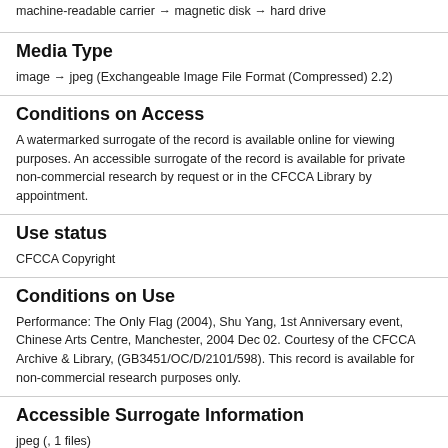machine-readable carrier → magnetic disk → hard drive
Media Type
image → jpeg (Exchangeable Image File Format (Compressed) 2.2)
Conditions on Access
A watermarked surrogate of the record is available online for viewing purposes. An accessible surrogate of the record is available for private non-commercial research by request or in the CFCCA Library by appointment.
Use status
CFCCA Copyright
Conditions on Use
Performance: The Only Flag (2004), Shu Yang, 1st Anniversary event, Chinese Arts Centre, Manchester, 2004 Dec 02. Courtesy of the CFCCA Archive & Library, (GB3451/OC/D/2101/598). This record is available for non-commercial research purposes only.
Accessible Surrogate Information
jpeg (, 1 files)